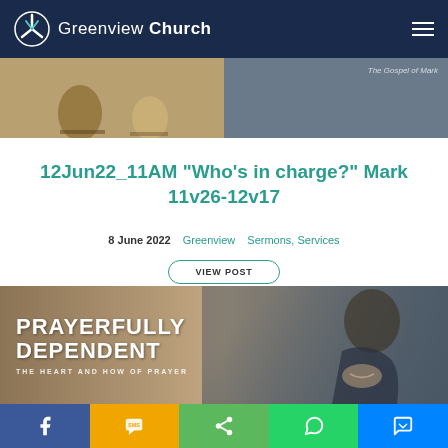Greenview Church
[Figure (photo): Top banner image showing two jars on left and gray background with italic text 'The Gospel of Mark' on right]
12Jun22_11AM “Who’s in charge?” Mark 11v26-12v17
8 June 2022    Greenview    Sermons, Services
VIEW POST
[Figure (photo): Banner image with text 'PRAYERFULLY DEPENDENT - THE HEART AND HOW OF PRAYER' with a person praying in dark background]
[Figure (infographic): Social sharing bar with Facebook, SMS, Share, WhatsApp, and Messenger buttons]